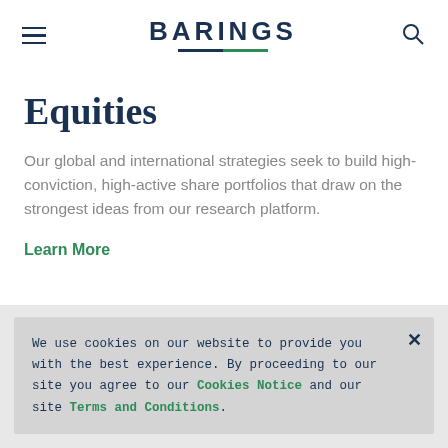BARINGS
Equities
Our global and international strategies seek to build high-conviction, high-active share portfolios that draw on the strongest ideas from our research platform.
Learn More
We use cookies on our website to provide you with the best experience. By proceeding to our site you agree to our Cookies Notice and our site Terms and Conditions.